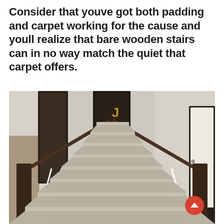Consider that youve got both padding and carpet working for the cause and youll realize that bare wooden stairs can in no way match the quiet that carpet offers.
[Figure (photo): Interior photo of a staircase viewed from the bottom looking up. The stairs are carpeted with a light beige/grey patterned carpet. Dark wood banisters and white spindles are on each side. At the top of the stairs on the wall hangs decorative letters spelling JOY in gold. The hallway wall is light grey. To the left is a partial view of a framed opening showing stone. A door with dark frame is visible at the top.]